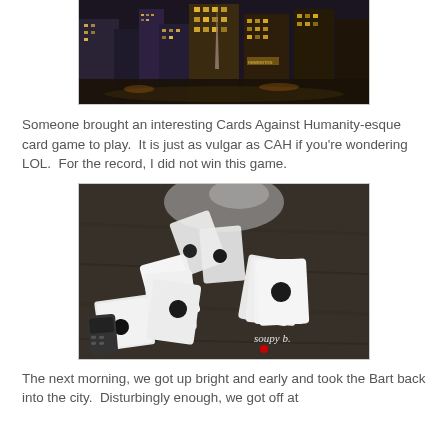[Figure (photo): Night cityscape photograph showing illuminated buildings and a plaza at night]
Someone brought an interesting Cards Against Humanity-esque card game to play.  It is just as vulgar as CAH if you're wondering LOL.  For the record, I did not win this game.
[Figure (photo): Black and white photograph of card game being played on a table, with playing cards spread out. Watermark reads 'soupy b.' with a red heart.]
The next morning, we got up bright and early and took the Bart back into the city.  Disturbingly enough, we got off at